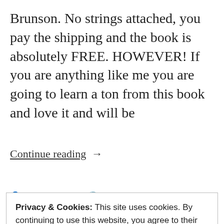Brunson. No strings attached, you pay the shipping and the book is absolutely FREE. HOWEVER! If you are anything like me you are going to learn a ton from this book and love it and will be
Continue reading  →
D. Jeff Heggie   April 15, 2019   blog
Book, books, clickfunnels, expert, free, free book,
Privacy & Cookies: This site uses cookies. By continuing to use this website, you agree to their use.
To find out more, including how to control cookies, see here: Cookie Policy
Close and accept
How to create a mass